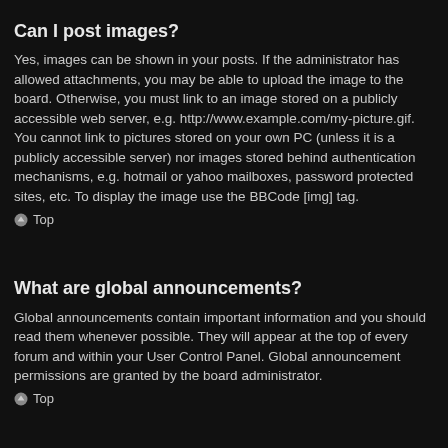Can I post images?
Yes, images can be shown in your posts. If the administrator has allowed attachments, you may be able to upload the image to the board. Otherwise, you must link to an image stored on a publicly accessible web server, e.g. http://www.example.com/my-picture.gif. You cannot link to pictures stored on your own PC (unless it is a publicly accessible server) nor images stored behind authentication mechanisms, e.g. hotmail or yahoo mailboxes, password protected sites, etc. To display the image use the BBCode [img] tag.
⬆ Top
What are global announcements?
Global announcements contain important information and you should read them whenever possible. They will appear at the top of every forum and within your User Control Panel. Global announcement permissions are granted by the board administrator.
⬆ Top
What are announcements?